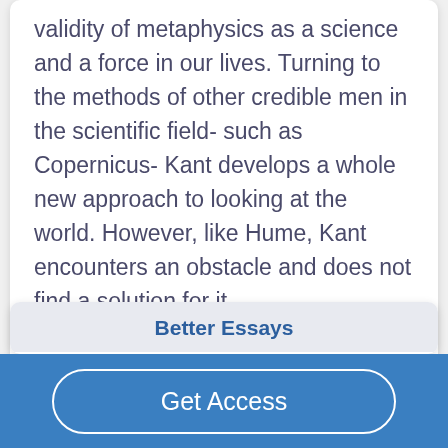validity of metaphysics as a science and a force in our lives. Turning to the methods of other credible men in the scientific field- such as Copernicus- Kant develops a whole new approach to looking at the world. However, like Hume, Kant encounters an obstacle and does not find a solution for it....
Read More
Better Essays
Nietzche
1165 Words
Get Access